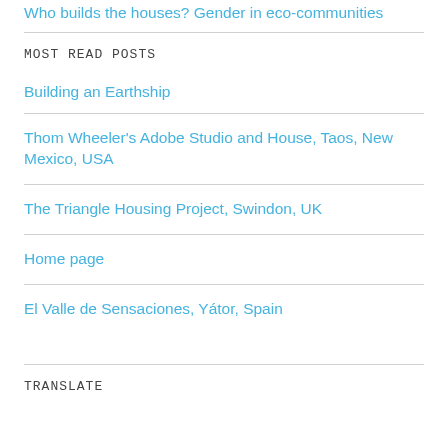Who builds the houses? Gender in eco-communities
MOST READ POSTS
Building an Earthship
Thom Wheeler's Adobe Studio and House, Taos, New Mexico, USA
The Triangle Housing Project, Swindon, UK
Home page
El Valle de Sensaciones, Yátor, Spain
TRANSLATE